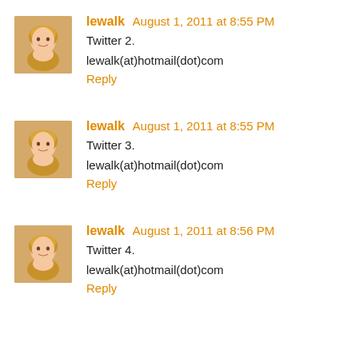lewalk August 1, 2011 at 8:55 PM
Twitter 2.
lewalk(at)hotmail(dot)com
Reply
lewalk August 1, 2011 at 8:55 PM
Twitter 3.
lewalk(at)hotmail(dot)com
Reply
lewalk August 1, 2011 at 8:56 PM
Twitter 4.
lewalk(at)hotmail(dot)com
Reply